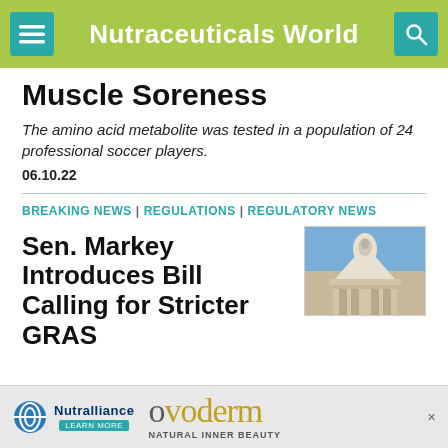Nutraceuticals World
Muscle Soreness
The amino acid metabolite was tested in a population of 24 professional soccer players.
06.10.22
BREAKING NEWS | REGULATIONS | REGULATORY NEWS
[Figure (photo): Photo of the U.S. Capitol building dome against a blue sky]
Sen. Markey Introduces Bill Calling for Stricter GRAS
[Figure (other): Advertisement banner for Nutralliance and ovoderm Natural Inner Beauty]